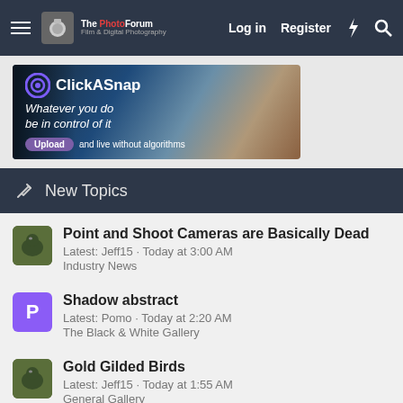The Photo Forum – Log in | Register
[Figure (photo): ClickASnap advertisement banner: photographer with camera, text 'Whatever you do be in control of it. Upload and live without algorithms.']
New Topics
Point and Shoot Cameras are Basically Dead
Latest: Jeff15 · Today at 3:00 AM
Industry News
Shadow abstract
Latest: Pomo · Today at 2:20 AM
The Black & White Gallery
Gold Gilded Birds
Latest: Jeff15 · Today at 1:55 AM
General Gallery